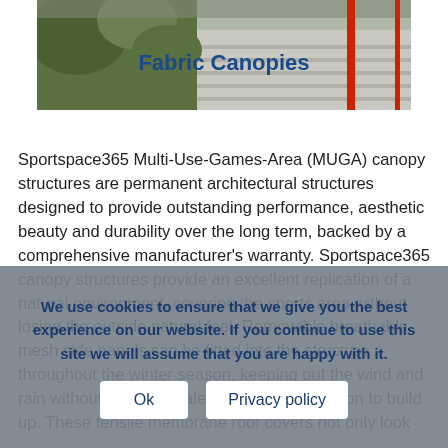[Figure (photo): Outdoor photo of a fabric canopy structure with red poles, seating area with steps visible in the background, green foliage on the left. Text overlay reads 'Fabric Canopies' in blue bold.]
Sportspace365 Multi-Use-Games-Area (MUGA) canopy structures are permanent architectural structures designed to provide outstanding performance, aesthetic beauty and durability over the long term, backed by a comprehensive manufacturer's warranty. Sportspace365 canopy structures provide an excellent replication of a natural environment, covering the sports area without losing the outside natural feel. Removable breathable mesh side panels can be fitted into the structure throughout the winter season, keeping out the wind and rain without allowing stale air and condensation to build up. These tensile membrane roof covers not only look
We use cookies to ensure that we give you the best experience on our website. If you continue to use this site we will assume that you are happy with it.